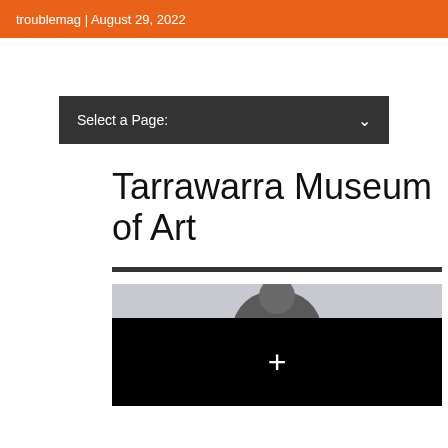troublemag | August 29, 2022
Select a Page:
Tarrawarra Museum of Art
[Figure (photo): A dark/black video player area with a white plus (+) icon in the center, above which is a partial view of a person against a light background]